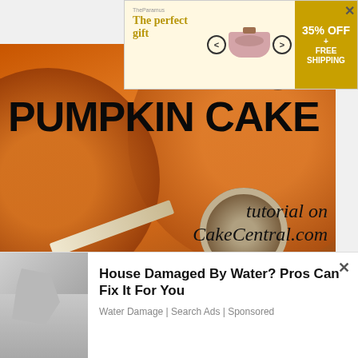[Figure (other): Advertisement banner: 'The perfect gift' with product images and '35% OFF + FREE SHIPPING' call to action]
[Figure (photo): 3D rendered pumpkin cake image with text 'PUMPKIN CAKE tutorial on CakeCentral.com' and TUTORIAL badge]
3D Pumpkin Cake Tutorial
By NishaW
This 3D Cake Tutorial can be a great project for the beginner
[Figure (other): Advertisement overlay: 'House Damaged By Water? Pros Can Fix It For You' - Water Damage | Search Ads | Sponsored]